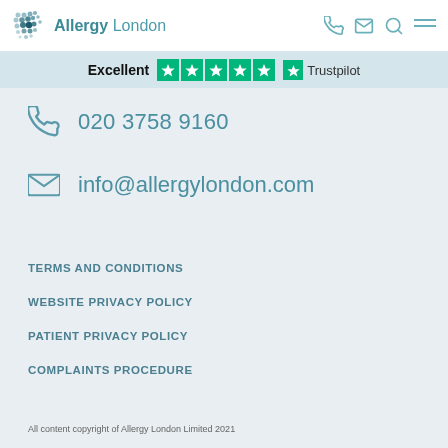Allergy London
[Figure (other): Trustpilot banner showing Excellent rating with 5 stars]
020 3758 9160
info@allergylondon.com
TERMS AND CONDITIONS
WEBSITE PRIVACY POLICY
PATIENT PRIVACY POLICY
COMPLAINTS PROCEDURE
All content copyright of Allergy London Limited 2021